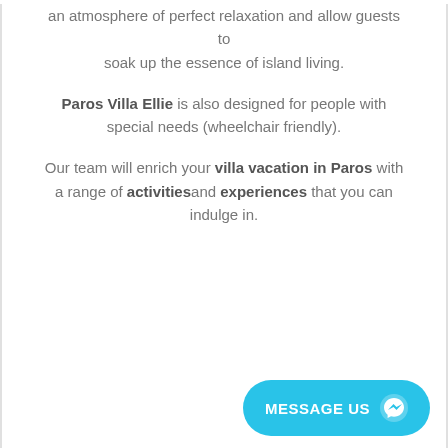an atmosphere of perfect relaxation and allow guests to soak up the essence of island living.
Paros Villa Ellie is also designed for people with special needs (wheelchair friendly).
Our team will enrich your villa vacation in Paros with a range of activities and experiences that you can indulge in.
[Figure (other): A cyan/sky-blue MESSAGE US button with a Facebook Messenger icon on the right side, positioned at the bottom-right of the page.]